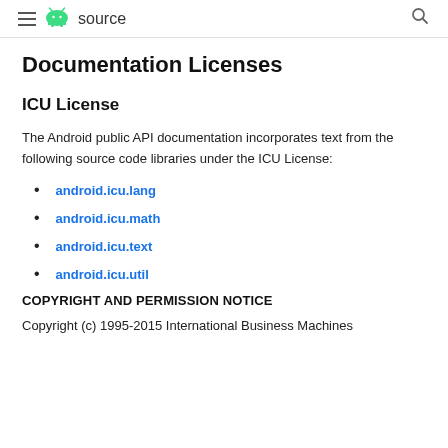≡  source  🔍
Documentation Licenses
ICU License
The Android public API documentation incorporates text from the following source code libraries under the ICU License:
android.icu.lang
android.icu.math
android.icu.text
android.icu.util
COPYRIGHT AND PERMISSION NOTICE
Copyright (c) 1995-2015 International Business Machines